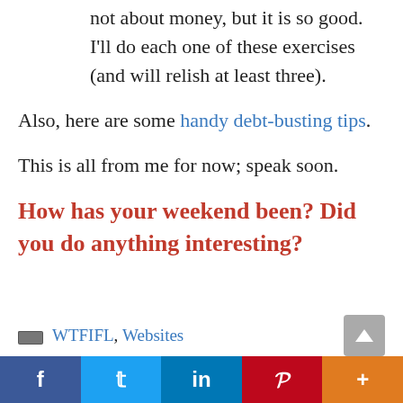not about money, but it is so good. I'll do each one of these exercises (and will relish at least three).
Also, here are some handy debt-busting tips.
This is all from me for now; speak soon.
How has your weekend been? Did you do anything interesting?
WTFIFL, Websites
[Figure (other): Social sharing bar with Facebook, Twitter, LinkedIn, Pinterest, and More buttons]